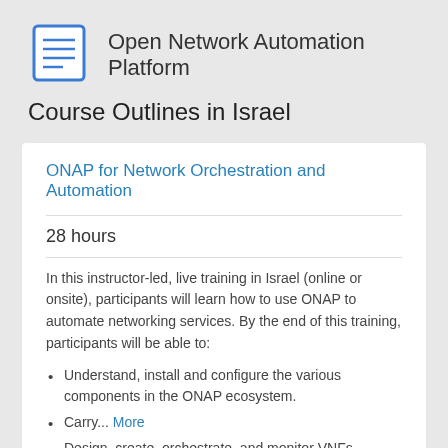[Figure (illustration): Document/notepad icon with blue outline, representing a checklist or course outline]
Open Network Automation Platform Course Outlines in Israel
ONAP for Network Orchestration and Automation
28 hours
In this instructor-led, live training in Israel (online or onsite), participants will learn how to use ONAP to automate networking services. By the end of this training, participants will be able to:
Understand, install and configure the various components in the ONAP ecosystem.
Carry... More
Design, create, orchestrate, and monitor VNFs.